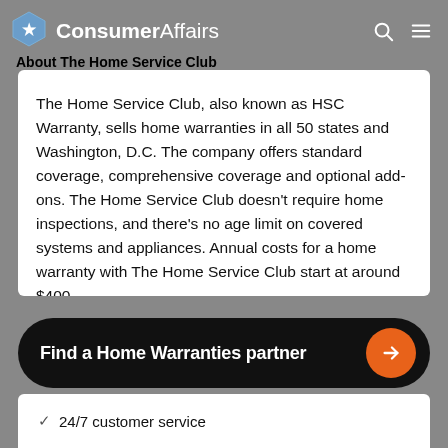ConsumerAffairs — About The Home Service Club
The Home Service Club, also known as HSC Warranty, sells home warranties in all 50 states and Washington, D.C. The company offers standard coverage, comprehensive coverage and optional add-ons. The Home Service Club doesn't require home inspections, and there's no age limit on covered systems and appliances. Annual costs for a home warranty with The Home Service Club start at around $400.
Find a Home Warranties partner
24/7 customer service